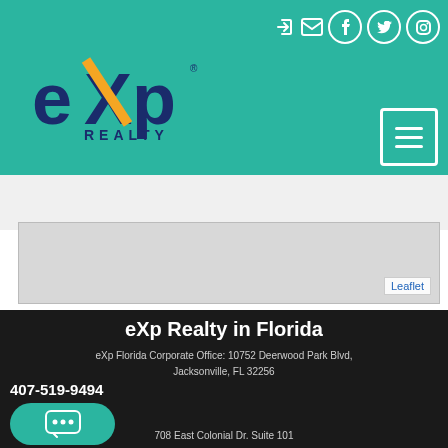eXp Realty
[Figure (logo): eXp Realty logo with orange and blue text on teal background]
[Figure (map): Leaflet map showing a gray area with 'Leaflet' attribution label]
eXp Realty in Florida
eXp Florida Corporate Office: 10752 Deerwood Park Blvd, Jacksonville, FL 32256
407-519-9494
708 East Colonial Dr. Suite 101